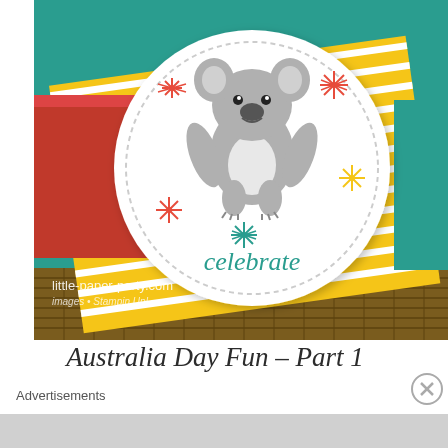[Figure (photo): A crafted greeting card scene showing a white circular card with a cute koala illustration and 'celebrate' text in teal cursive, placed on yellow striped patterned paper with colorful starburst stamps, a red box on the left, teal background, and a woven basket texture at the bottom. Watermark reads 'little-paper-party.com' with 'images • Stampin Up!' below.]
Australia Day Fun – Part 1
Advertisements